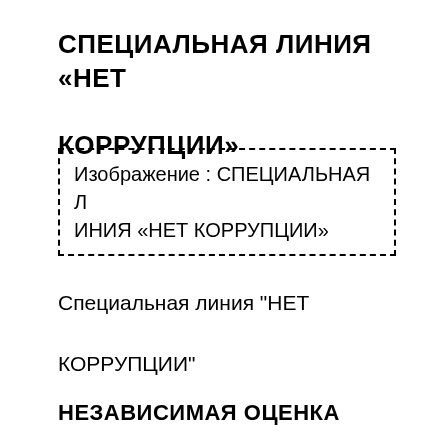СПЕЦИАЛЬНАЯ ЛИНИЯ «НЕТ КОРРУПЦИИ»
[Figure (other): Dashed border placeholder box with text: Изображение : СПЕЦИАЛЬНАЯ ЛИНИЯ «НЕТ КОРРУПЦИИ»]
Специальная линия "НЕТ КОРРУПЦИИ"
НЕЗАВИСИМАЯ ОЦЕНКА